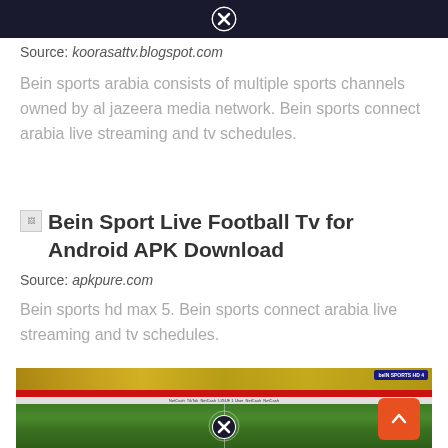[Figure (screenshot): Dark top bar with close/X button in the center]
Source: koorasattv.blogspot.com
Bein sports arabia consists of multiple sports channels owned by al jazeera media network. Bein sports connect arabia live streaming and tv schedules.
[Figure (other): Broken image icon followed by link text: Bein Sport Live Football Tv for Android APK Download]
Source: apkpure.com
Bein sports hd max 5. Bein sports connect arabia live streaming and tv schedules.
[Figure (screenshot): Football stadium aerial shot showing pitch with Ligue 1 branding, crowd in stands, beIN Sports logo visible]